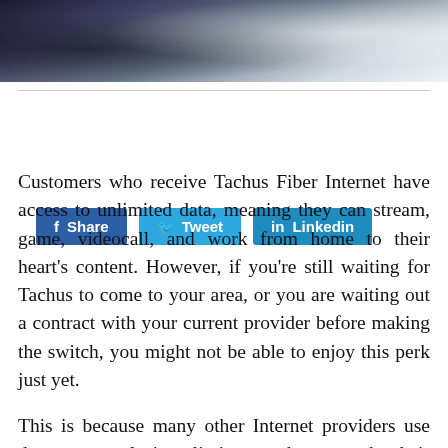[Figure (photo): Partial dark moody photo at top of page, appears to be a person or abstract scene in dark blue/grey tones]
[Figure (infographic): Social share buttons: Facebook Share, Twitter Tweet, LinkedIn Linkedin]
Customers who receive Tachus Fiber Internet have access to unlimited data, meaning they can stream, game, videocall, and work from home to their heart's content. However, if you're still waiting for Tachus to come to your area, or you are waiting out a contract with your current provider before making the switch, you might not be able to enjoy this perk just yet.
This is because many other Internet providers use data caps, placing limits on how much their customers can use their home Internet connection. If you are not yet a Tachus customer, there's a chance your ISP might have you on a data cap.